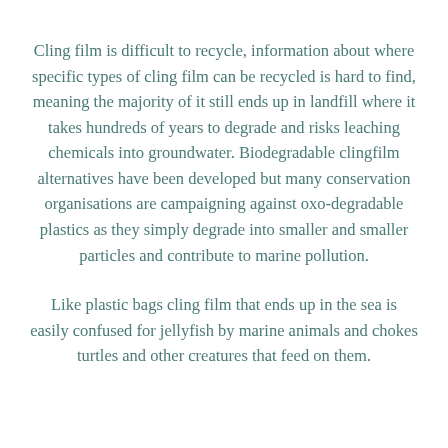Cling film is difficult to recycle, information about where specific types of cling film can be recycled is hard to find, meaning the majority of it still ends up in landfill where it takes hundreds of years to degrade and risks leaching chemicals into groundwater. Biodegradable clingfilm alternatives have been developed but many conservation organisations are campaigning against oxo-degradable plastics as they simply degrade into smaller and smaller particles and contribute to marine pollution.
Like plastic bags cling film that ends up in the sea is easily confused for jellyfish by marine animals and chokes turtles and other creatures that feed on them.